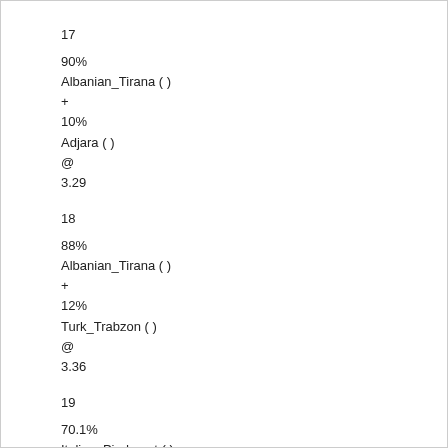17
90%
Albanian_Tirana ( )
+
10%
Adjara ( )
@
3.29
18
88%
Albanian_Tirana ( )
+
12%
Turk_Trabzon ( )
@
3.36
19
70.1%
Italian_Piedmont ( )
+
29.9%
Georgian_Tbilisi ( )
@
3.61
20
89%
Albanian_Tirana ( )